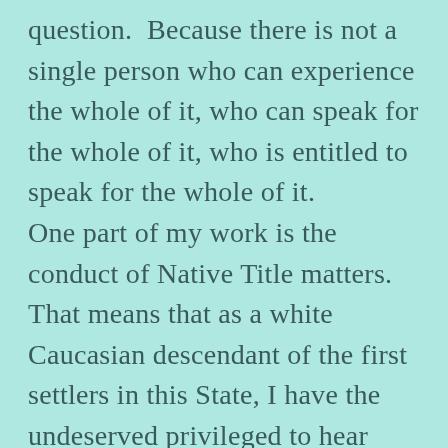question.  Because there is not a single person who can experience the whole of it, who can speak for the whole of it, who is entitled to speak for the whole of it.
One part of my work is the conduct of Native Title matters.  That means that as a white Caucasian descendant of the first settlers in this State, I have the undeserved privileged to hear stories told to the Court by Aboriginal people.   Those stories are about land, time and space, all at once.  They explain the features of the land and the inextricable relationship of